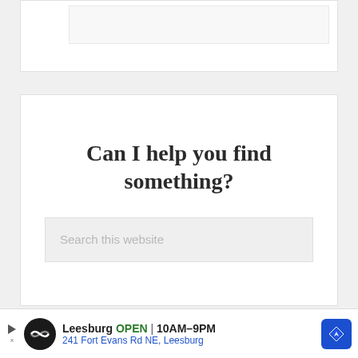[Figure (screenshot): Top portion of a web page card with a white background and a lighter inner box, partially visible at the top of the page.]
Can I help you find something?
Search this website
[Figure (screenshot): Bottom portion of a web page card partially visible, with an inner box at the bottom edge.]
Leesburg OPEN 10AM–9PM 241 Fort Evans Rd NE, Leesburg